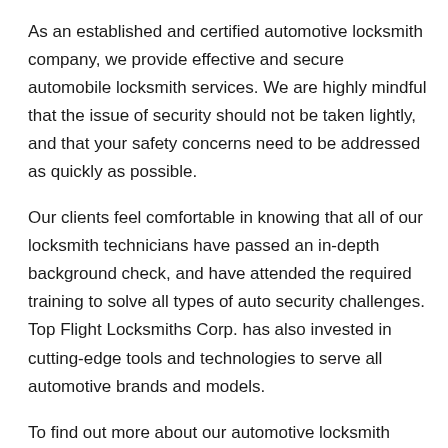As an established and certified automotive locksmith company, we provide effective and secure automobile locksmith services. We are highly mindful that the issue of security should not be taken lightly, and that your safety concerns need to be addressed as quickly as possible.
Our clients feel comfortable in knowing that all of our locksmith technicians have passed an in-depth background check, and have attended the required training to solve all types of auto security challenges. Top Flight Locksmiths Corp. has also invested in cutting-edge tools and technologies to serve all automotive brands and models.
To find out more about our automotive locksmith services or to request service, call (954) 445-8435 now.